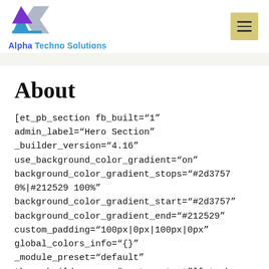[Figure (logo): Alpha Techno Solutions logo with triangle/arrow graphic in purple and blue with gray arrow shape]
Alpha Techno Solutions
About
[et_pb_section fb_built="1" admin_label="Hero Section" _builder_version="4.16" use_background_color_gradient="on" background_color_gradient_stops="#2d3757 0%|#212529 100%" background_color_gradient_start="#2d3757" background_color_gradient_end="#212529" custom_padding="100px|0px|100px|0px" global_colors_info="{}" _module_preset="default" theme_builder_area="post_content"][et_pb_row